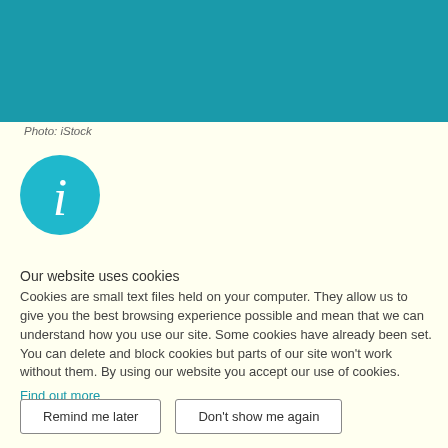[Figure (photo): Teal/blue textured background photo (iStock)]
Photo: iStock
[Figure (illustration): Teal circular information icon with italic letter i in white]
Our website uses cookies
Cookies are small text files held on your computer. They allow us to give you the best browsing experience possible and mean that we can understand how you use our site. Some cookies have already been set. You can delete and block cookies but parts of our site won't work without them. By using our website you accept our use of cookies.
Find out more
Remind me later
Don't show me again